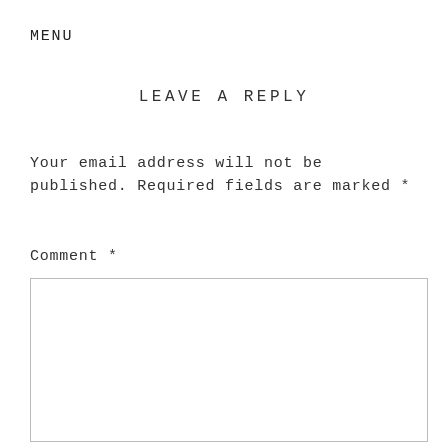MENU
LEAVE A REPLY
Your email address will not be published. Required fields are marked *
Comment *
[Figure (other): Empty comment text area input box]